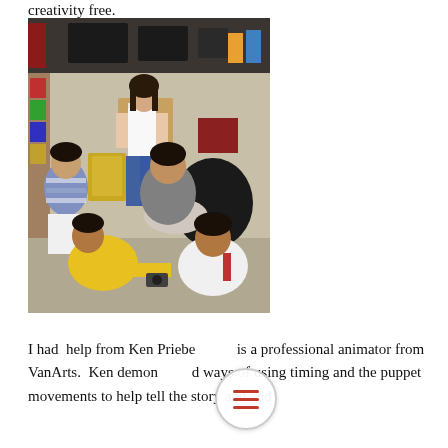creativity free.
[Figure (photo): A woman instructor and several children sitting on a classroom floor engaged in a craft or art activity. The room has books and supplies visible in the background.]
I had help from Ken Priebe who is a professional animator from VanArts. Ken demonstrated ways of using timing and the puppet movements to help tell the story and add